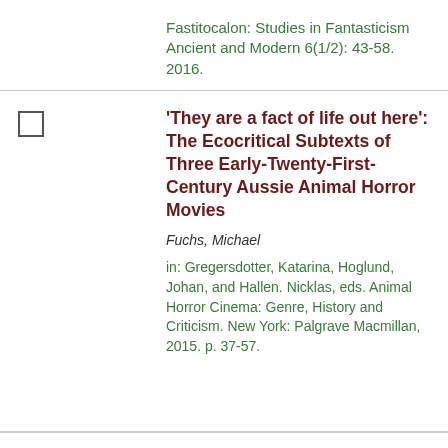Fastitocalon: Studies in Fantasticism Ancient and Modern 6(1/2): 43-58. 2016.
'They are a fact of life out here': The Ecocritical Subtexts of Three Early-Twenty-First-Century Aussie Animal Horror Movies
Fuchs, Michael
in: Gregersdotter, Katarina, Hoglund, Johan, and Hallen. Nicklas, eds. Animal Horror Cinema: Genre, History and Criticism. New York: Palgrave Macmillan, 2015. p. 37-57.